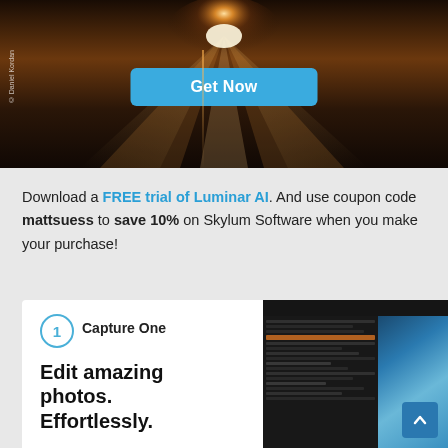[Figure (photo): Dark dramatic hero photo of a road or railway track with bright light rays emanating from the center horizon, warm orange/amber tones. A 'Get Now' call-to-action button overlaid in the center. Photo credit: © Daniel Kordan]
Download a FREE trial of Luminar AI. And use coupon code mattsuess to save 10% on Skylum Software when you make your purchase!
[Figure (screenshot): White card section showing a circled number '1' badge, 'Capture One' label, bold headline 'Edit amazing photos. Effortlessly.' on the left, and a screenshot of a dark photo editing software interface on the right with blue tones.]